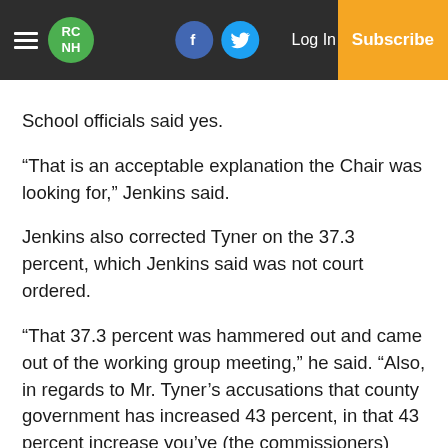RC NH | Facebook | Twitter | Log In | Subscribe
School officials said yes.
“That is an acceptable explanation the Chair was looking for,” Jenkins said.
Jenkins also corrected Tyner on the 37.3 percent, which Jenkins said was not court ordered.
“That 37.3 percent was hammered out and came out of the working group meeting,” he said. “Also, in regards to Mr. Tyner’s accusations that county government has increased 43 percent, in that 43 percent increase you’ve (the commissioners) added on eight new deputies to provide law enforcement